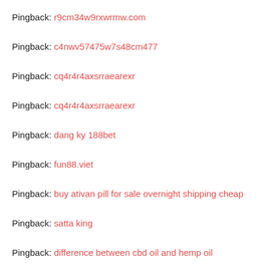Pingback: r9cm34w9rxwrmw.com
Pingback: c4nwv57475w7s48cm477
Pingback: cq4r4r4axsrraearexr
Pingback: cq4r4r4axsrraearexr
Pingback: dang ky 188bet
Pingback: fun88.viet
Pingback: buy ativan pill for sale overnight shipping cheap
Pingback: satta king
Pingback: difference between cbd oil and hemp oil